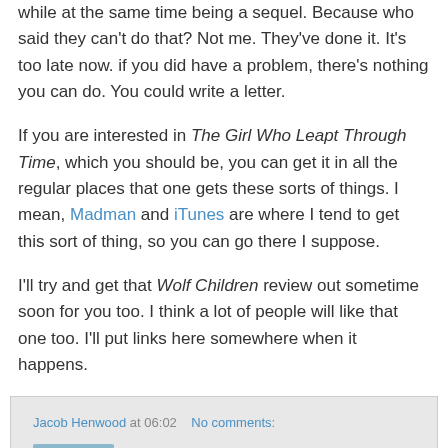while at the same time being a sequel. Because who said they can't do that? Not me. They've done it. It's too late now. if you did have a problem, there's nothing you can do. You could write a letter.
If you are interested in The Girl Who Leapt Through Time, which you should be, you can get it in all the regular places that one gets these sorts of things. I mean, Madman and iTunes are where I tend to get this sort of thing, so you can go there I suppose.
I'll try and get that Wolf Children review out sometime soon for you too. I think a lot of people will like that one too. I'll put links here somewhere when it happens.
Jacob Henwood at 06:02   No comments:
Share
Saturday, 20 February 2016
Yet Another Astro Boy